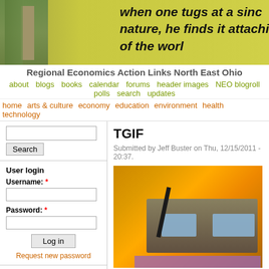[Figure (photo): Website header banner with outdoor scene and handwritten text: 'when one tugs at a single strand of nature, he finds it attached to the rest of the world']
Regional Economics Action Links North East Ohio
about  blogs  books  calendar  forums  header images  NEO blogroll  polls  search  updates
home  arts & culture  economy  education  environment  health  technology
Search
User login
Username: *
Password: *
Log in
Request new password
Office of Citizen
Rest in Peace,
TGIF
Submitted by Jeff Buster on Thu, 12/15/2011 - 20:37.
[Figure (photo): Close-up photo of electronic device with blue screens on orange/amber fur background with purple element visible]